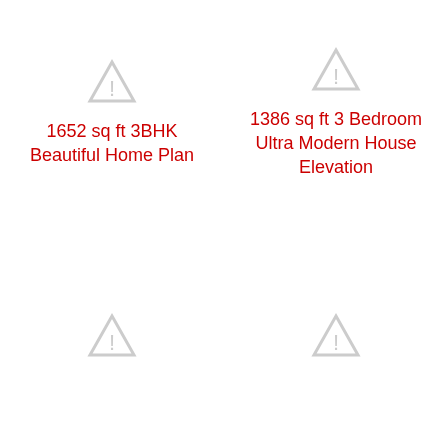[Figure (illustration): Warning triangle placeholder icon for house plan image (top-left)]
[Figure (illustration): Warning triangle placeholder icon for house elevation image (top-right)]
1652 sq ft 3BHK Beautiful Home Plan
1386 sq ft 3 Bedroom Ultra Modern House Elevation
[Figure (illustration): Warning triangle placeholder icon (bottom-left)]
[Figure (illustration): Warning triangle placeholder icon (bottom-right)]